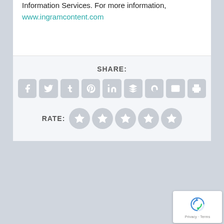Information Services. For more information, www.ingramcontent.com
SHARE:
[Figure (infographic): Row of 9 social share icon buttons (Facebook, Twitter, Tumblr, Pinterest, LinkedIn, Buffer/layers, StumbleUpon, Email, Print) rendered as gray rounded square icons with white symbols]
RATE:
[Figure (infographic): Five gray circular star rating buttons]
[Figure (other): Google reCAPTCHA badge with spinning arrows logo and Privacy · Terms text]